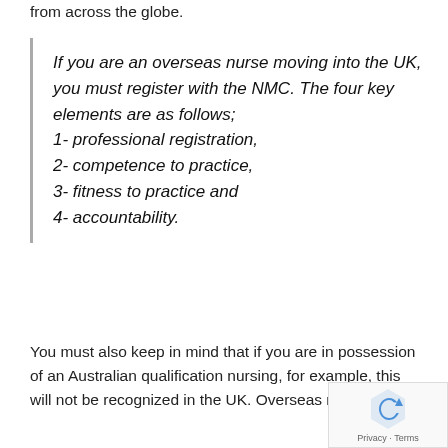from across the globe.
If you are an overseas nurse moving into the UK, you must register with the NMC. The four key elements are as follows; 1- professional registration, 2- competence to practice, 3- fitness to practice and 4- accountability.
1- professional registration,
2- competence to practice,
3- fitness to practice and
4- accountability.
You must also keep in mind that if you are in possession of an Australian qualification nursing, for example, this will not be recognized in the UK. Overseas nurses